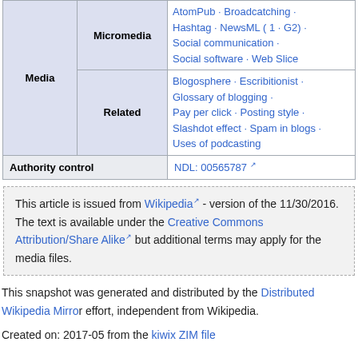| Media | Micromedia / Related | Links |
| --- | --- | --- |
| Media | Micromedia | AtomPub · Broadcatching · Hashtag · NewsML ( 1 · G2) · Social communication · Social software · Web Slice |
| Media | Related | Blogosphere · Escribitionist · Glossary of blogging · Pay per click · Posting style · Slashdot effect · Spam in blogs · Uses of podcasting |
| Authority control | NDL: 00565787 |  |
This article is issued from Wikipedia - version of the 11/30/2016. The text is available under the Creative Commons Attribution/Share Alike but additional terms may apply for the media files.
This snapshot was generated and distributed by the Distributed Wikipedia Mirror effort, independent from Wikipedia.
Created on: 2017-05 from the kiwix ZIM file